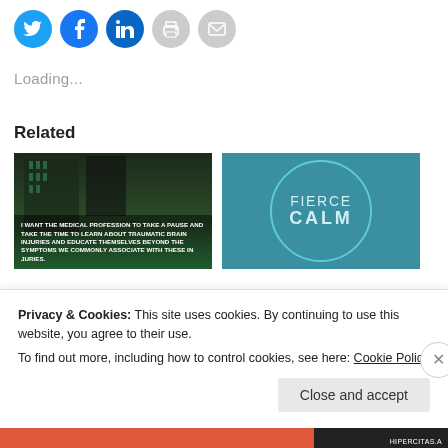[Figure (other): Social sharing icon buttons: Twitter (blue), Facebook (blue), LinkedIn (blue), Print (gray), Email (gray)]
Loading...
Related
[Figure (photo): Dark building photo with green overlay band at bottom reading: I WANT THE MEDICAL PROFESSION TO TAKE A PAUSE AND TAKE THE TIME TO LEARN ABOUT TRAUMATIC BRAIN INJURIES AND EDUCATE THEMSELVES BEYOND THE SYMPTOMS WE COMMONLY ASSOCIATE WITH THESE INJURIES.]
[Figure (logo): Teal background with circle outline containing text FIERCE CALM in light blue geometric font]
Privacy & Cookies: This site uses cookies. By continuing to use this website, you agree to their use.
To find out more, including how to control cookies, see here: Cookie Policy
Close and accept